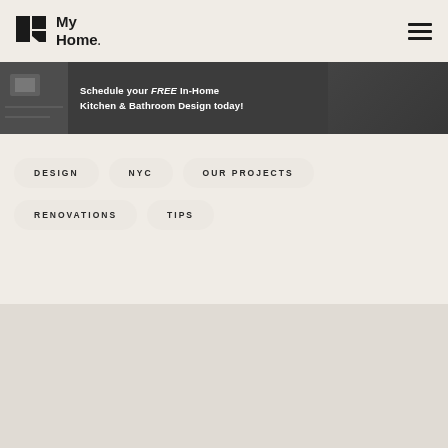My Home
[Figure (screenshot): Dark banner advertisement with text 'Schedule your FREE In-Home Kitchen & Bathroom Design today!' on a dark background with blueprint/design imagery and a person holding a tablet]
DESIGN
NYC
OUR PROJECTS
RENOVATIONS
TIPS